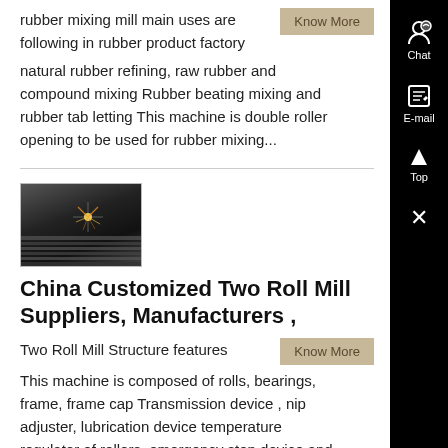rubber mixing mill main uses are following in rubber product factory natural rubber refining, raw rubber and compound mixing Rubber beating mixing and rubber tab letting This machine is double roller opening to be used for rubber mixing...
[Figure (photo): Small thumbnail image of industrial machinery with sparks, possibly a two roll mill or laser cutting machine, dark background]
China Customized Two Roll Mill Suppliers, Manufacturers ,
Two Roll Mill Structure features This machine is composed of rolls, bearings, frame, frame cap Transmission device , nip adjuster, lubrication device temperature regulator of rollers, emergency stop device and